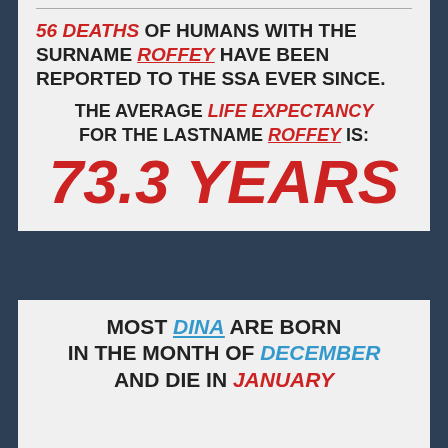56 DEATHS OF HUMANS WITH THE SURNAME ROFFEY HAVE BEEN REPORTED TO THE SSA EVER SINCE.
THE AVERAGE LIFE EXPECTANCY FOR THE LASTNAME ROFFEY IS: 73.3 YEARS
MOST DINA ARE BORN IN THE MONTH OF DECEMBER AND DIE IN JANUARY